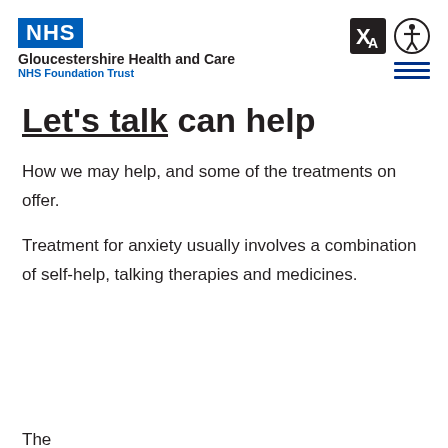NHS Gloucestershire Health and Care NHS Foundation Trust
Let's talk can help
How we may help, and some of the treatments on offer.
Treatment for anxiety usually involves a combination of self-help, talking therapies and medicines.
The...